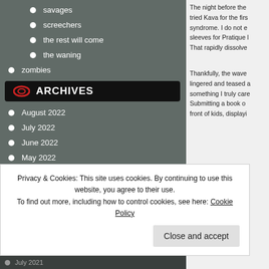savages
screechers
the rest will come
the waning
zombies
ARCHIVES
August 2022
July 2022
June 2022
May 2022
April 2022
March 2022
February 2022
The night before the... tried Kava for the firs... syndrome. I do not e... sleeves for Pratique ... That rapidly dissolve...
Thankfully, the wave... lingered and teased a... something I truly care... Submitting a book o... front of kids, displayi...
Privacy & Cookies: This site uses cookies. By continuing to use this website, you agree to their use.
To find out more, including how to control cookies, see here: Cookie Policy
Close and accept
July 2021